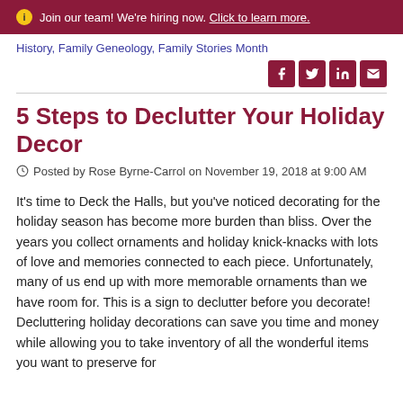Join our team! We're hiring now. Click to learn more.
History, Family Geneology, Family Stories Month
5 Steps to Declutter Your Holiday Decor
Posted by Rose Byrne-Carrol on November 19, 2018 at 9:00 AM
It's time to Deck the Halls, but you've noticed decorating for the holiday season has become more burden than bliss. Over the years you collect ornaments and holiday knick-knacks with lots of love and memories connected to each piece. Unfortunately, many of us end up with more memorable ornaments than we have room for. This is a sign to declutter before you decorate! Decluttering holiday decorations can save you time and money while allowing you to take inventory of all the wonderful items you want to preserve for